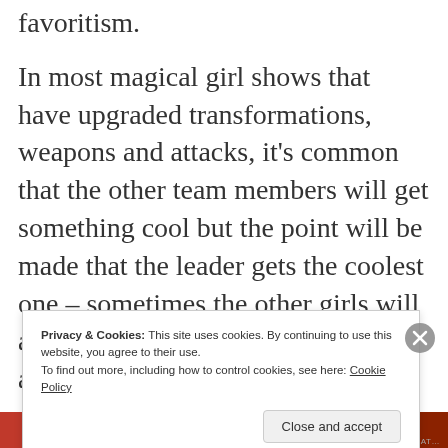favoritism.
In most magical girl shows that have upgraded transformations, weapons and attacks, it's common that the other team members will get something cool but the point will be made that the leader gets the coolest one – sometimes the other girls will all get their upgrades one at a time as a buildup to the big leader upgrade, and other times the leader will get her
Privacy & Cookies: This site uses cookies. By continuing to use this website, you agree to their use.
To find out more, including how to control cookies, see here: Cookie Policy
Close and accept